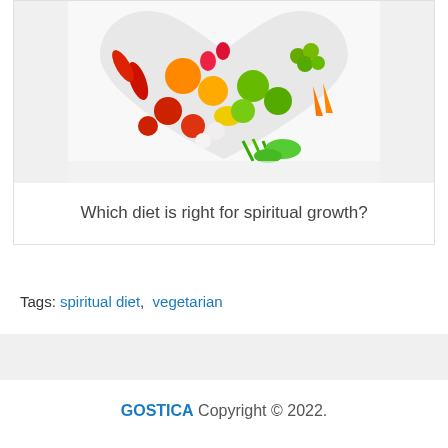[Figure (photo): A heart shape made from colorful fruits and vegetables including tomatoes, peppers, grapes, carrots, apples, green onions, and other produce on a white background.]
Which diet is right for spiritual growth?
Tags: spiritual diet,  vegetarian
GOSTICA Copyright © 2022.